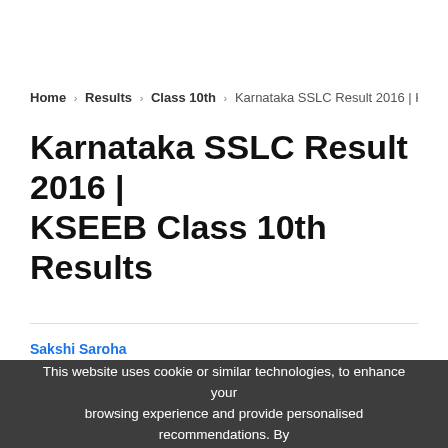Home › Results › Class 10th › Karnataka SSLC Result 2016 | KSEEB Class 10th R
Karnataka SSLC Result 2016 | KSEEB Class 10th Results
Sakshi Saroha
Updated: Mar 9, 2017 15:32 IST
This website uses cookie or similar technologies, to enhance your browsing experience and provide personalised recommendations. By